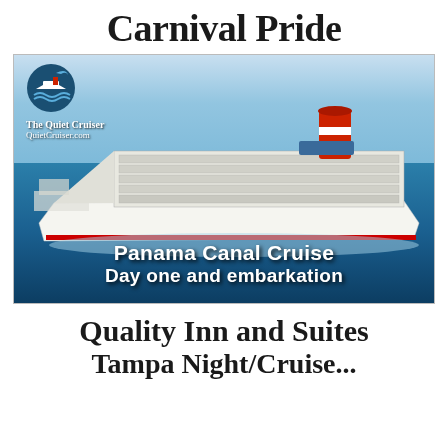Carnival Pride
[Figure (photo): Photo of Carnival Pride cruise ship at sea with The Quiet Cruiser / QuietCruiser.com logo overlay, and text overlay reading 'Panama Canal Cruise / Day one and embarkation']
Quality Inn and Suites
Tampa Night/Cruise...